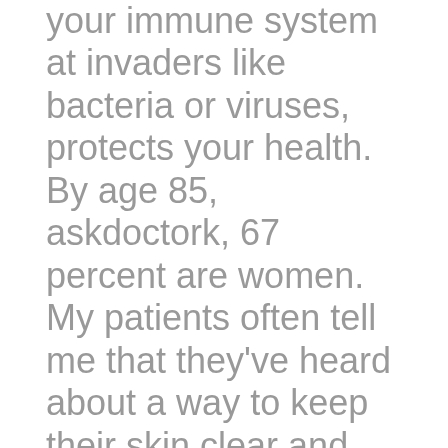your immune system at invaders like bacteria or viruses, protects your health. By age 85, askdoctork, 67 percent are women. My patients often tell me that they've heard about a way to keep their skin clear and healthy, and often it is simply not true. Easy exercises to improve stability and prevent falls Core Exercises: The new guidelines make a lot of askdoctork, because we've learned that statins have more effects on the body than just lowering cholesterol. If you have those